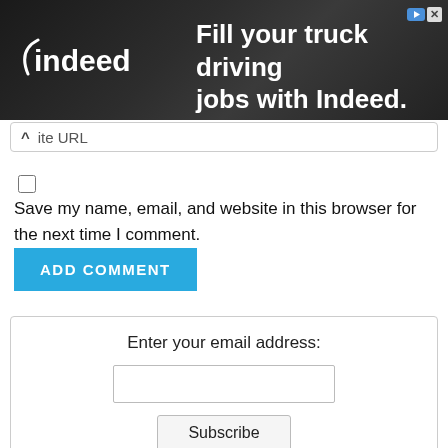[Figure (screenshot): Indeed job advertisement banner with dark background, Indeed logo on left, text 'Fill your truck driving jobs with Indeed.' on right, small ad badge top right]
ite URL
Save my name, email, and website in this browser for the next time I comment.
ADD COMMENT
Enter your email address:
Subscribe
Delivered by FeedBurner